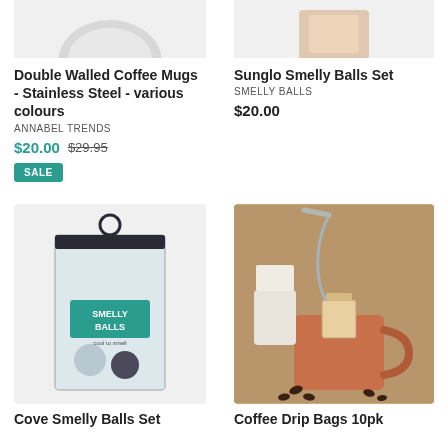[Figure (photo): Partial top view of Double Walled Coffee Mugs - Stainless Steel product image (cropped at top)]
Double Walled Coffee Mugs - Stainless Steel - various colours
ANNABEL TRENDS
$20.00 $29.95
SALE
[Figure (photo): Partial top view of Sunglo Smelly Balls Set product image (cropped at top)]
Sunglo Smelly Balls Set
SMELLY BALLS
$20.00
[Figure (photo): Cove Smelly Balls Set product in a clear zip pouch with teal SMELLY BALLS branding, two scented balls visible]
Cove Smelly Balls Set
[Figure (photo): Coffee Drip Bags 10pk - hot water being poured through a coffee drip bag into an orange ceramic mug, coffee beans scattered around]
Coffee Drip Bags 10pk